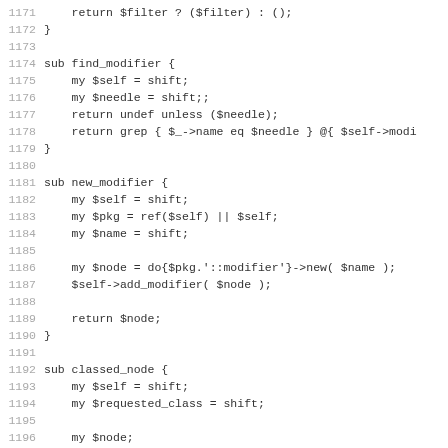Code listing lines 1171-1202, Perl source code showing find_modifier, new_modifier, and classed_node subroutines